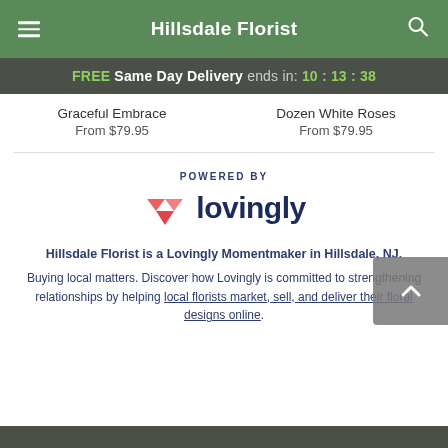Hillsdale Florist
FREE Same Day Delivery ends in: 10 : 13 : 38
Graceful Embrace
From $79.95
Dozen White Roses
From $79.95
POWERED BY
[Figure (logo): Lovingly logo with pink/red heart-shaped envelope icon and dark navy 'lovingly' wordmark]
Hillsdale Florist is a Lovingly Momentmaker in Hillsdale, NJ.
Buying local matters. Discover how Lovingly is committed to strengthening relationships by helping local florists market, sell, and deliver their floral designs online.